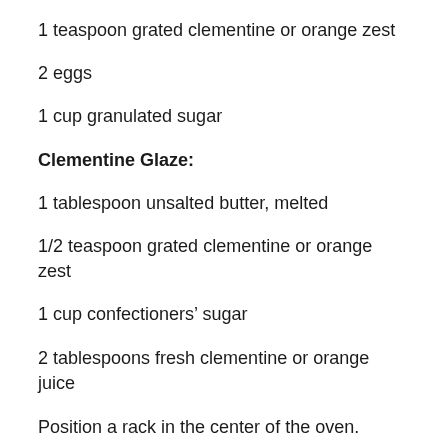1 teaspoon grated clementine or orange zest
2 eggs
1 cup granulated sugar
Clementine Glaze:
1 tablespoon unsalted butter, melted
1/2 teaspoon grated clementine or orange zest
1 cup confectioners’ sugar
2 tablespoons fresh clementine or orange juice
Position a rack in the center of the oven. Preheat the oven to 325 degrees. Coat a 9-by-5-inch metal loaf pan with nonstick cooking spray. Line the pan with an 8 1/2-by-15-inch strip of parchment paper so it covers the